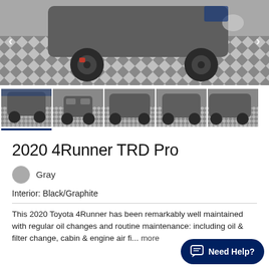[Figure (photo): Main large photo of a gray 2020 Toyota 4Runner TRD Pro on a checkered floor, showing the front-left wheel and body. Navigation arrows on left and right sides.]
[Figure (photo): Thumbnail row of 5 photos of a gray 2020 Toyota 4Runner TRD Pro from various angles. First thumbnail is active/selected with a dark blue underline.]
2020 4Runner TRD Pro
Gray
Interior: Black/Graphite
This 2020 Toyota 4Runner has been remarkably well maintained with regular oil changes and routine maintenance: including oil & filter change, cabin & engine air fi... more